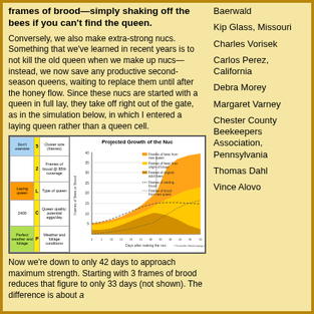frames of brood—simply shaking off the bees if you can't find the queen.
Conversely, we also make extra-strong nucs. Something that we've learned in recent years is to not kill the old queen when we make up nucs—instead, we now save any productive second-season queens, waiting to replace them until after the honey flow. Since these nucs are started with a queen in full lay, they take off right out of the gate, as in the simulation below, in which I entered a laying queen rather than a queen cell.
[Figure (other): Chart showing Projected Growth of the Nuc with a table of parameters on the left (Cluster size 5 frames, Frames of brood at 85% coverage 2, Type of queen L-Laying queen, Queen quality/potential eggs/day 2400 C, Weather and foliage conditions P-Perfect) and an area chart on the right showing frames of bees or brood over days after making the nuc.]
Now we're down to only 42 days to approach maximum strength. Starting with 3 frames of brood reduces that figure to only 33 days (not shown). The difference is about...
Baerwald
Kip Glass, Missouri
Charles Vorisek
Carlos Perez, California
Debra Morey
Margaret Varney
Chester County Beekeepers Association, Pennsylvania
Thomas Dahl
Vince Alovo